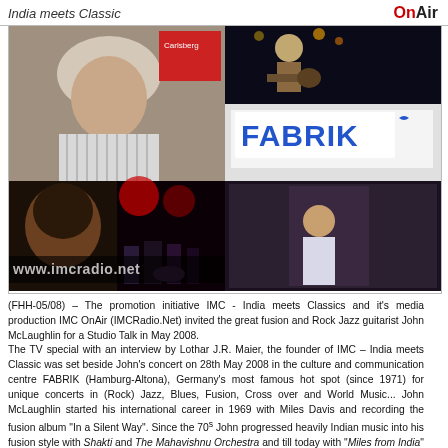India meets Classic | OnAir
[Figure (photo): Collage of photos: left large photo of John McLaughlin in interview setting with Carlsberg poster behind; top right photo of guitarist performing on dark stage; middle right FABRIK venue sign; bottom left two photos - close-up face and concert band playing; bottom right photo of person standing indoors; URL overlay www.imcradio.net]
(FHH-05/08) – The promotion initiative IMC - India meets Classics and it's media production IMC OnAir (IMCRadio.Net) invited the great fusion and Rock Jazz guitarist John McLaughlin for a Studio Talk in May 2008. The TV special with an interview by Lothar J.R. Maier, the founder of IMC – India meets Classic was set beside John's concert on 28th May 2008 in the culture and communication centre FABRIK (Hamburg-Altona), Germany's most famous hot spot (since 1971) for unique concerts in (Rock) Jazz, Blues, Fusion, Cross over and World Music... John McLaughlin started his international career in 1969 with Miles Davis and recording the fusion album "In a Silent Way". Since the 70s John progressed heavily Indian music into his fusion style with Shakti and The Mahavishnu Orchestra and till today with "Miles from India" in 2006/2007 and "Floating Point" in 2008.